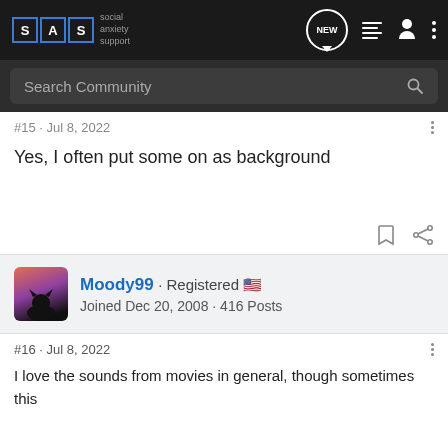SAS social anxiety support
Search Community
#15 · Jul 8, 2022
Yes, I often put some on as background
Moody99 · Registered 🇺🇸
Joined Dec 20, 2008 · 416 Posts
#16 · Jul 8, 2022